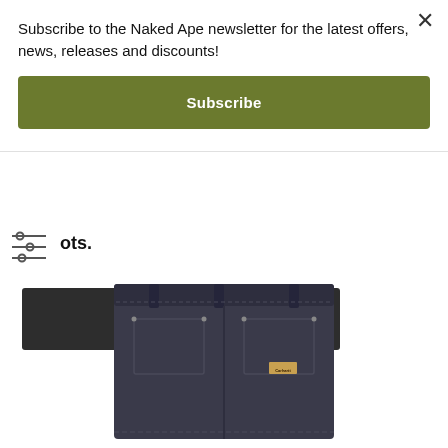Subscribe to the Naked Ape newsletter for the latest offers, news, releases and discounts!
Subscribe
ots.
Add to Cart
[Figure (photo): Photo of dark grey/charcoal denim jeans (Carhartt brand, visible logo patch on back pocket), showing waistband and upper portion of jeans from behind.]